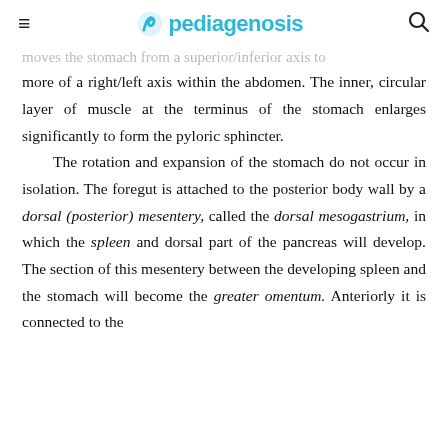≡  pediagenosis  🔍
...moves the stomach from a superior/inferior axis to more of a right/left axis within the abdomen. The inner, circular layer of muscle at the terminus of the stomach enlarges significantly to form the pyloric sphincter. The rotation and expansion of the stomach do not occur in isolation. The foregut is attached to the posterior body wall by a dorsal (posterior) mesentery, called the dorsal mesogastrium, in which the spleen and dorsal part of the pancreas will develop. The section of this mesentery between the developing spleen and the stomach will become the greater omentum. Anteriorly it is connected to the